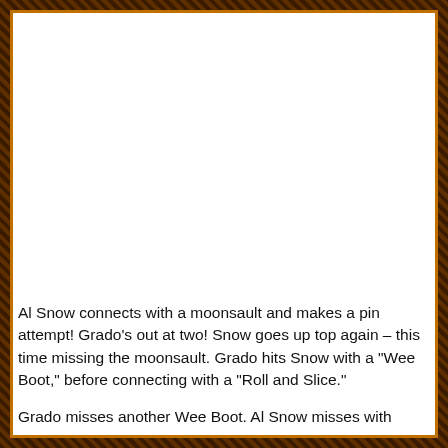Al Snow connects with a moonsault and makes a pin attempt! Grado's out at two! Snow goes up top again – this time missing the moonsault. Grado hits Snow with a “Wee Boot,” before connecting with a “Roll and Slice.”
Grado misses another Wee Boot. Al Snow misses with